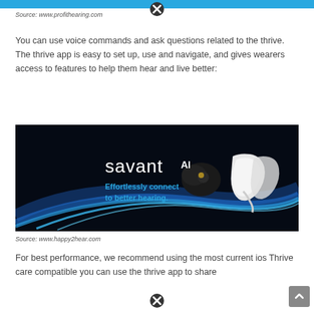Source: www.profithearing.com
You can use voice commands and ask questions related to the thrive. The thrive app is easy to set up, use and navigate, and gives wearers access to features to help them hear and live better:
[Figure (photo): Savant AI hearing aid advertisement with text 'savantAI' and 'Effortlessly connect to better hearing.' on a dark background with blue light streaks and hearing aid devices.]
Source: www.happy2hear.com
For best performance, we recommend using the most current ios Thrive care compatible you can use the thrive app to share